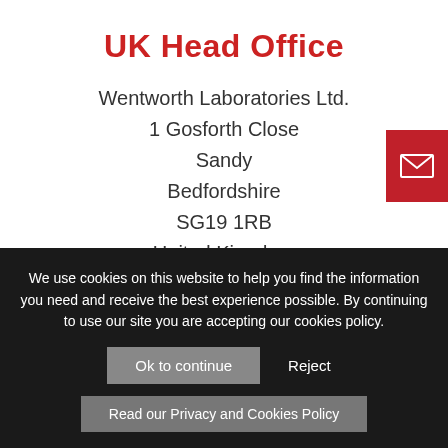UK Head Office
Wentworth Laboratories Ltd.
1 Gosforth Close
Sandy
Bedfordshire
SG19 1RB
United Kingdom
Tel: +44 1767 681221
We use cookies on this website to help you find the information you need and receive the best experience possible. By continuing to use our site you are accepting our cookies policy. Ok to continue Reject
Read our Privacy and Cookies Policy